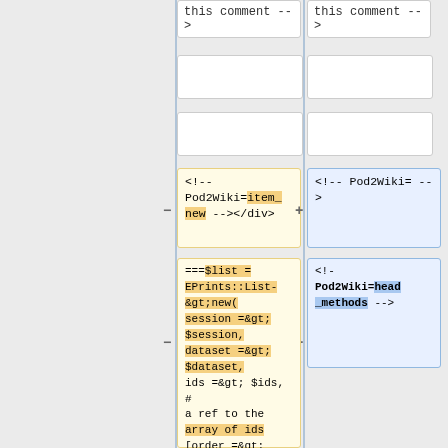this comment -->
this comment -->
<!-- Pod2Wiki=item_new --></div>
<!-- Pod2Wiki= -->
===\$list = EPrints::List-&gt;new( session =&gt; \$session, dataset =&gt; \$dataset, ids =&gt; \$ids, # a ref to the array of ids [order =&gt; \$order] ); # the field on which to order the
<!-- Pod2Wiki=head_methods -->